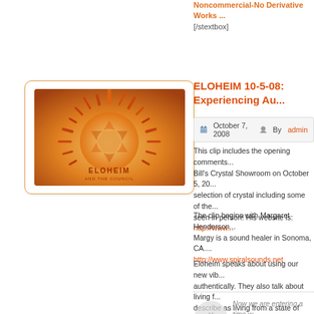Noncommercial-No Derivative Works ... [/stextbox]
ELOHEIM 10-5-08: Experiencing Au...
October 7, 2008  By admin
This clip includes the opening comments... Bill's Crystal Showroom on October 5, 2008... selection of crystal including some of the... seen in person! His website is: http://www...
The clip begins with Margaret Henderson... Margy is a sound healer in Sonoma, CA. http://www.spiralsounds.net
Eloheim speaks about using our new vib... authentically. They also talk about living f... describe as living from a state of neutral...
Now we are entering a time w... through society as you continu... level you carry and the vibr...
[Figure (illustration): Eloheim and the Council logo — stylized sun with rays in orange/gold tones with ELOHEIM text below]